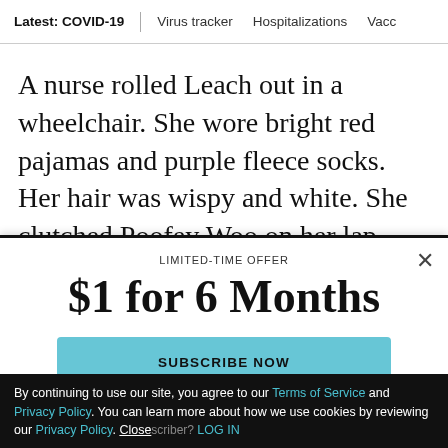Latest: COVID-19 | Virus tracker | Hospitalizations | Vacci
A nurse rolled Leach out in a wheelchair. She wore bright red pajamas and purple fleece socks. Her hair was wispy and white. She clutched Poofey Woo on her lap.
LIMITED-TIME OFFER
$1 for 6 Months
SUBSCRIBE NOW
By continuing to use our site, you agree to our Terms of Service and Privacy Policy. You can learn more about how we use cookies by reviewing our Privacy Policy. Close
Already a subscriber? LOG IN